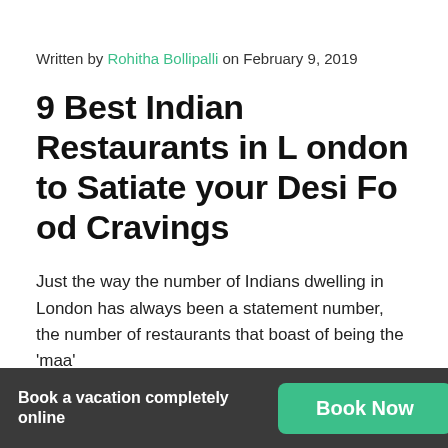Written by Rohitha Bollipalli on February 9, 2019
9 Best Indian Restaurants in London to Satiate your Desi Food Cravings
Just the way the number of Indians dwelling in London has always been a statement number, the number of restaurants that boast of being the 'maa' of the…
Book a vacation completely online   Book Now